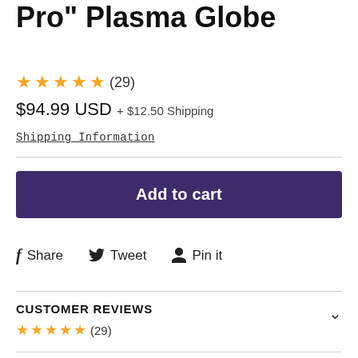Tyrian Purple Junior Pro" Plasma Globe
★★★★★ (29)
$94.99 USD + $12.50 Shipping
Shipping Information
Add to cart
Share   Tweet   Pin it
CUSTOMER REVIEWS
★★★★★ (29)